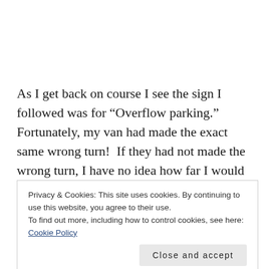As I get back on course I see the sign I followed was for “Overflow parking.” Fortunately, my van had made the exact same wrong turn!  If they had not made the wrong turn, I have no idea how far I would have run before realizing I was off course. Probably a mile, then figuring it out, then a mile back. Disaster.  Or, if I had been 60
Privacy & Cookies: This site uses cookies. By continuing to use this website, you agree to their use.
To find out more, including how to control cookies, see here: Cookie Policy
approaching.  Someone said, “At least we aren’t the only